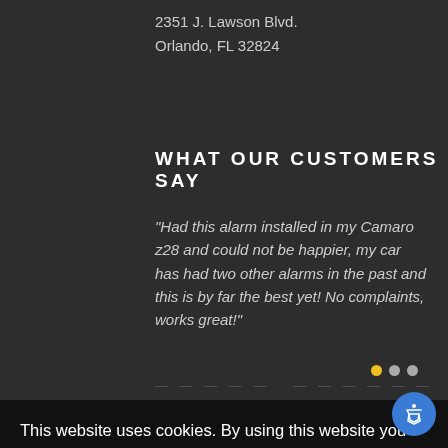2351 J. Lawson Blvd.
Orlando, FL 32824
WHAT OUR CUSTOMERS SAY
"Had this alarm installed in my Camaro z28 and could not be happier, my car has had two other alarms in the past and this is by far the best yet! No complaints, works great!"
NEWSLETTER
This website uses cookies. By using this website you consent to our use of these cookies. For more information, visit our Privacy Policy.
ACCEPT